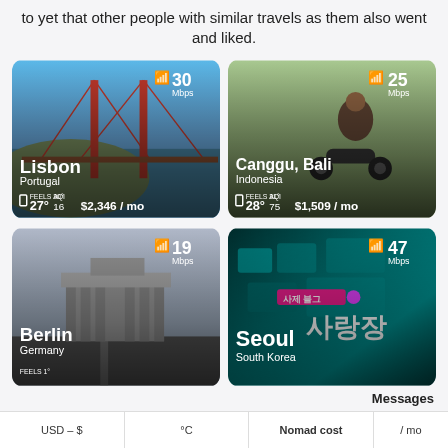to yet that other people with similar travels as them also went and liked.
[Figure (photo): City card for Lisbon, Portugal with bridge photo, 30 Mbps wifi, 27°C temperature, AQI 16, $2,346/mo cost]
[Figure (photo): City card for Canggu, Bali, Indonesia with person on motorcycle photo, 25 Mbps wifi, 28°C temperature, AQI 75, $1,509/mo cost]
[Figure (photo): City card for Berlin, Germany with Brandenburg Gate photo, 19 Mbps wifi]
[Figure (photo): City card for Seoul, South Korea with neon signs photo, 47 Mbps wifi]
Messages
USD – $   °C   Nomad cost   / mo